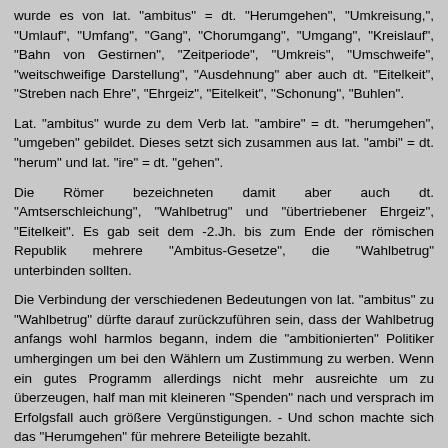wurde es von lat. "ambitus" = dt. "Herumgehen", "Umkreisung,", "Umlauf", "Umfang", "Gang", "Chorumgang", "Umgang", "Kreislauf", "Bahn von Gestirnen", "Zeitperiode", "Umkreis", "Umschweife", "weitschweifige Darstellung", "Ausdehnung" aber auch dt. "Eitelkeit", "Streben nach Ehre", "Ehrgeiz", "Eitelkeit", "Schonung", "Buhlen".
Lat. "ambitus" wurde zu dem Verb lat. "ambire" = dt. "herumgehen", "umgeben" gebildet. Dieses setzt sich zusammen aus lat. "ambi" = dt. "herum" und lat. "ire" = dt. "gehen".
Die Römer bezeichneten damit aber auch dt. "Amtserschleichung", "Wahlbetrug" und "übertriebener Ehrgeiz", "Eitelkeit". Es gab seit dem -2.Jh. bis zum Ende der römischen Republik mehrere "Ambitus-Gesetze", die "Wahlbetrug" unterbinden sollten.
Die Verbindung der verschiedenen Bedeutungen von lat. "ambitus" zu "Wahlbetrug" dürfte darauf zurückzuführen sein, dass der Wahlbetrug anfangs wohl harmlos begann, indem die "ambitionierten" Politiker umhergingen um bei den Wählern um Zustimmung zu werben. Wenn ein gutes Programm allerdings nicht mehr ausreichte um zu überzeugen, half man mit kleineren "Spenden" nach und versprach im Erfolgsfall auch größere Vergünstigungen. - Und schon machte sich das "Herumgehen" für mehrere Beteiligte bezahlt.